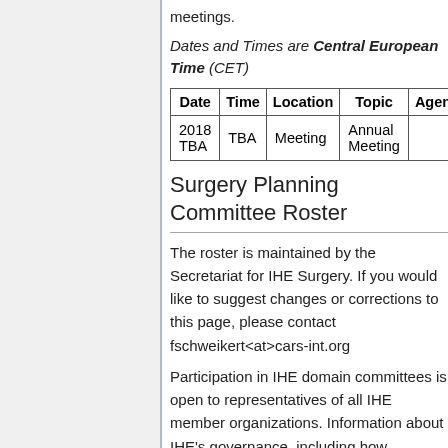meetings.
Dates and Times are Central European Time (CET)
| Date | Time | Location | Topic | Agenda | M |
| --- | --- | --- | --- | --- | --- |
| 2018 TBA | TBA | Meeting | Annual Meeting |  |  |
Surgery Planning Committee Roster
The roster is maintained by the Secretariat for IHE Surgery. If you would like to suggest changes or corrections to this page, please contact fschweikert<at>cars-int.org
Participation in IHE domain committees is open to representatives of all IHE member organizations. Information about IHE's governance, including how